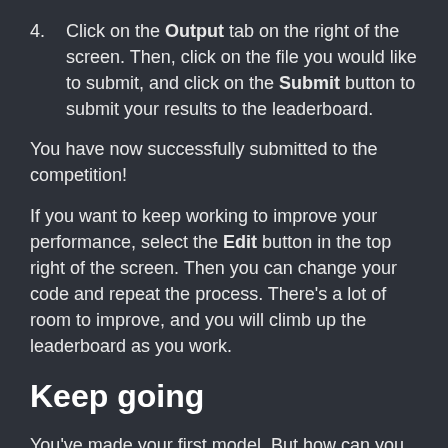4. Click on the Output tab on the right of the screen. Then, click on the file you would like to submit, and click on the Submit button to submit your results to the leaderboard.
You have now successfully submitted to the competition!
If you want to keep working to improve your performance, select the Edit button in the top right of the screen. Then you can change your code and repeat the process. There's a lot of room to improve, and you will climb up the leaderboard as you work.
Keep going
You've made your first model. But how can you quickly make it better?
Learn how to improve your competition results by incorporating columns with missing values...